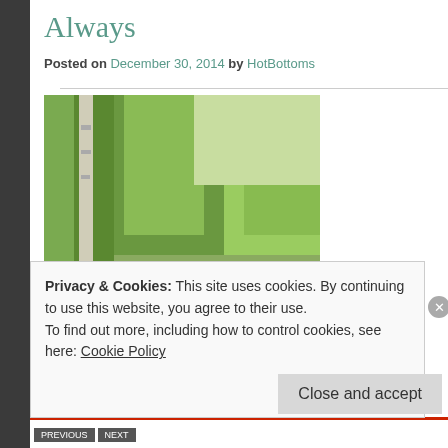Always
Posted on December 30, 2014 by HotBottoms
[Figure (photo): Outdoor photo showing a concrete or wooden barrier/guardrail with the word 'ForEver' written in black marker or paint on it, surrounded by green foliage and trees in the background.]
Privacy & Cookies: This site uses cookies. By continuing to use this website, you agree to their use.
To find out more, including how to control cookies, see here: Cookie Policy
Close and accept